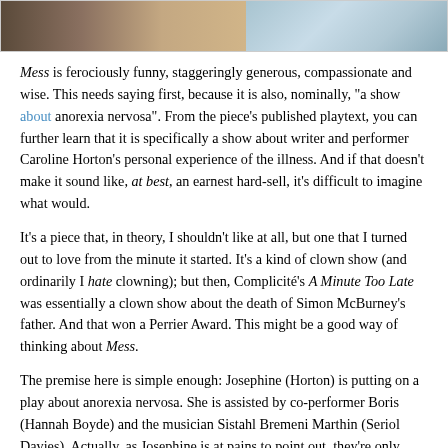[Figure (photo): Top portion of a photograph showing a person in a blue/grey dress near a table, cropped at the top of the page.]
Mess is ferociously funny, staggeringly generous, compassionate and wise. This needs saying first, because it is also, nominally, "a show about anorexia nervosa". From the piece's published playtext, you can further learn that it is specifically a show about writer and performer Caroline Horton's personal experience of the illness. And if that doesn't make it sound like, at best, an earnest hard-sell, it's difficult to imagine what would.
It's a piece that, in theory, I shouldn't like at all, but one that I turned out to love from the minute it started. It's a kind of clown show (and ordinarily I hate clowning); but then, Complicité's A Minute Too Late was essentially a clown show about the death of Simon McBurney's father. And that won a Perrier Award. This might be a good way of thinking about Mess.
The premise here is simple enough: Josephine (Horton) is putting on a play about anorexia nervosa. She is assisted by co-performer Boris (Hannah Boyde) and the musician Sistahl Bremeni Marthin (Seriol Davies). Actually, as Josephine is at pains to point out, they're only doing the show on the Fringe, so this isn't the "proper" show. The proper show would have a proper stage, an orchestra in a pit, set changes after every scene in black-out, and a revolve. As